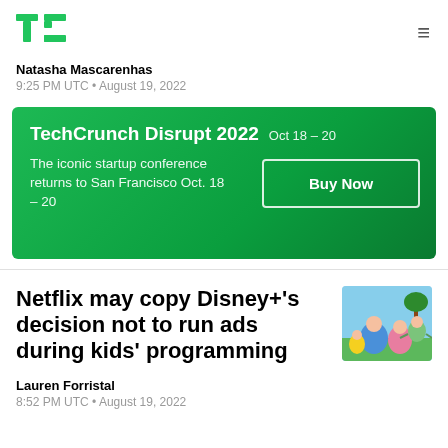[Figure (logo): TechCrunch TC logo in green]
Natasha Mascarenhas
9:25 PM UTC • August 19, 2022
[Figure (infographic): TechCrunch Disrupt 2022 ad banner, green background. Text: TechCrunch Disrupt 2022  Oct 18-20. The iconic startup conference returns to San Francisco Oct. 18-20. Buy Now button.]
Netflix may copy Disney+'s decision not to run ads during kids' programming
[Figure (photo): Thumbnail image showing animated characters from a kids show (Gabby's Dollhouse style)]
Lauren Forristal
8:52 PM UTC • August 19, 2022